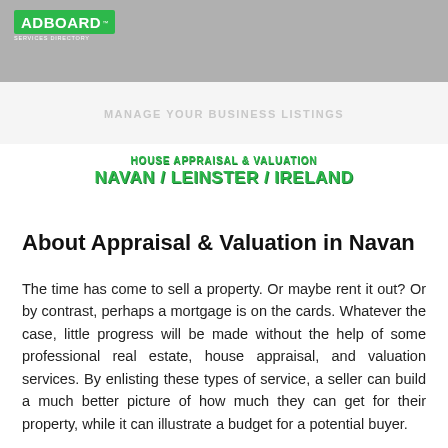[Figure (logo): AdBoard Services Directory logo with green background, white text 'AD' and 'BOARD' with TM mark]
MANAGE YOUR BUSINESS LISTINGS
HOUSE APPRAISAL & VALUATION
NAVAN / LEINSTER / IRELAND
About Appraisal & Valuation in Navan
The time has come to sell a property. Or maybe rent it out? Or by contrast, perhaps a mortgage is on the cards. Whatever the case, little progress will be made without the help of some professional real estate, house appraisal, and valuation services. By enlisting these types of service, a seller can build a much better picture of how much they can get for their property, while it can illustrate a budget for a potential buyer.